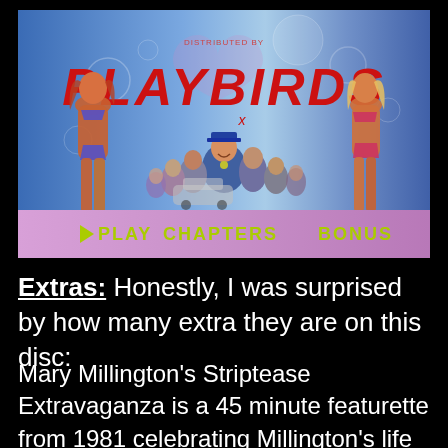[Figure (screenshot): DVD menu screenshot for 'Playbirds' showing the title in red italic text on a blue background, illustrated figures of women in bikinis on the left and right, a group of characters in the center, and a menu bar at the bottom with options: PLAY, CHAPTERS, BONUS on a pink/purple gradient bar.]
Extras: Honestly, I was surprised by how many extra they are on this disc:
Mary Millington's Striptease Extravaganza is a 45 minute featurette from 1981 celebrating Millington's life via a striptease